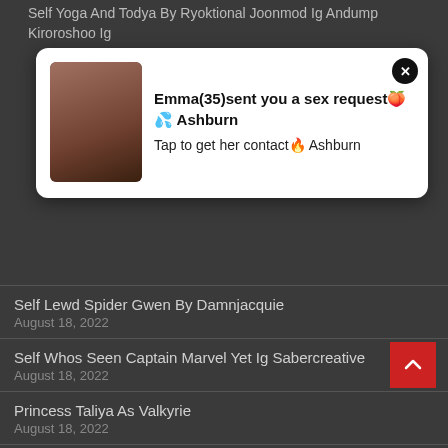Self Yoga And Todya By Ryoktional Joonmod Ig Andump Kiroroshoo Ig
[Figure (other): Ad popup overlay with a photo of a woman and text: Emma(35)sent you a sex request🍑💦 Ashburn – Tap to get her contact🔥 Ashburn]
Self Lewd Spider Gwen By Damnjacquie
August 18, 2022
Self Whos Seen Captain Marvel Yet Ig Sabercreative
August 18, 2022
Princess Taliya As Valkyrie
August 18, 2022
Sami Bess As Rogue X Men Evolution
August 18, 2022
Shannnwow44 As A Sexy Version Of Hinata Naruto
August 18, 2022